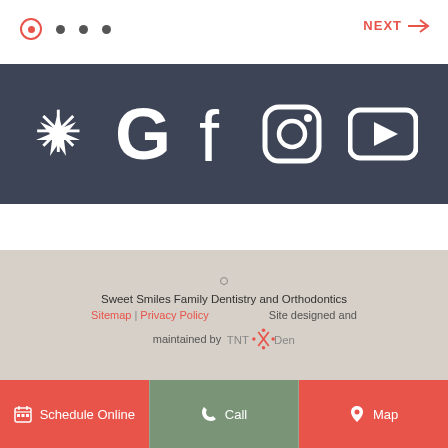[Figure (other): Navigation dots: one active (circled) and three inactive dots, with NEXT arrow on the right]
[Figure (other): Social media icon bar with Yelp, Google, Facebook, Instagram, YouTube icons on dark background]
Sweet Smiles Family Dentistry and Orthodontics
Sitemap | Privacy Policy    Site designed and maintained by TNT Dental
[Figure (other): Bottom action bar with Schedule Online, Call, and Map buttons]